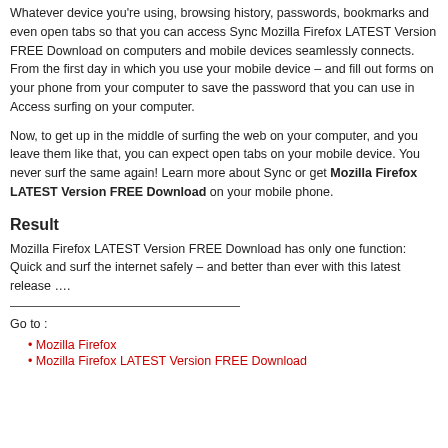Whatever device you're using, browsing history, passwords, bookmarks and even open tabs so that you can access Sync Mozilla Firefox LATEST Version FREE Download on computers and mobile devices seamlessly connects. From the first day in which you use your mobile device – and fill out forms on your phone from your computer to save the password that you can use in Access surfing on your computer.
Now, to get up in the middle of surfing the web on your computer, and you leave them like that, you can expect open tabs on your mobile device. You never surf the same again! Learn more about Sync or get Mozilla Firefox LATEST Version FREE Download on your mobile phone.
Result
Mozilla Firefox LATEST Version FREE Download has only one function: Quick and surf the internet safely – and better than ever with this latest release ….
Go to :
Mozilla Firefox
Mozilla Firefox LATEST Version FREE Download